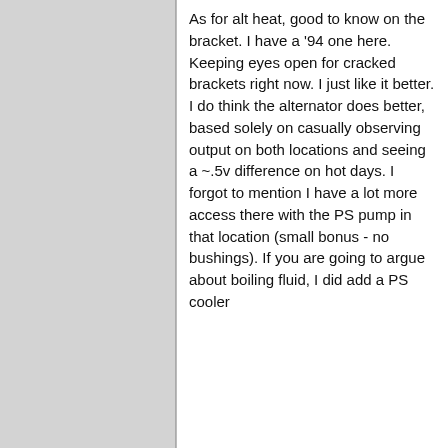As for alt heat, good to know on the bracket. I have a '94 one here. Keeping eyes open for cracked brackets right now. I just like it better. I do think the alternator does better, based solely on casually observing output on both locations and seeing a ~.5v difference on hot days. I forgot to mention I have a lot more access there with the PS pump in that location (small bonus - no bushings). If you are going to argue about boiling fluid, I did add a PS cooler